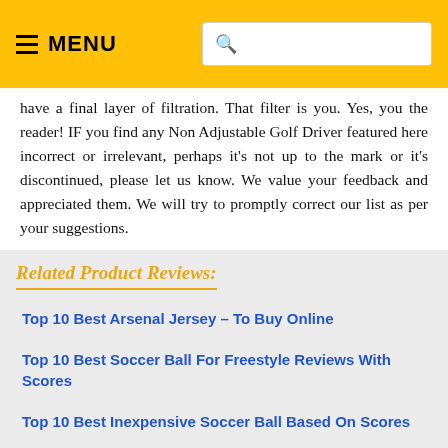MENU [search bar]
have a final layer of filtration. That filter is you. Yes, you the reader! IF you find any Non Adjustable Golf Driver featured here incorrect or irrelevant, perhaps it's not up to the mark or it's discontinued, please let us know. We value your feedback and appreciated them. We will try to promptly correct our list as per your suggestions.
Related Product Reviews:
Top 10 Best Arsenal Jersey – To Buy Online
Top 10 Best Soccer Ball For Freestyle Reviews With Scores
Top 10 Best Inexpensive Soccer Ball Based On Scores